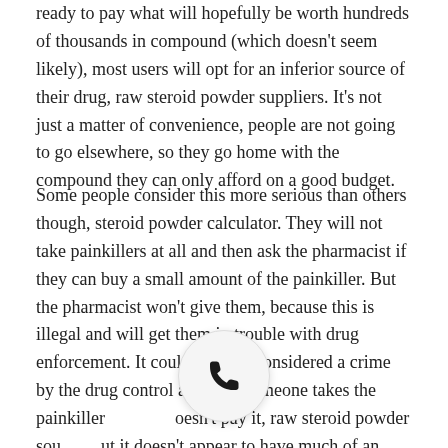ready to pay what will hopefully be worth hundreds of thousands in compound (which doesn't seem likely), most users will opt for an inferior source of their drug, raw steroid powder suppliers. It's not just a matter of convenience, people are not going to go elsewhere, so they go home with the compound they can only afford on a good budget.
Some people consider this more serious than others though, steroid powder calculator. They will not take painkillers at all and then ask the pharmacist if they can buy a small amount of the painkiller. But the pharmacist won't give them, because this is illegal and will get them in trouble with drug enforcement. It could even be considered a crime by the drug control agents if someone takes the painkiller and doesn't pay it, raw steroid powder sources. But it doesn't appear to have much of an effect on user